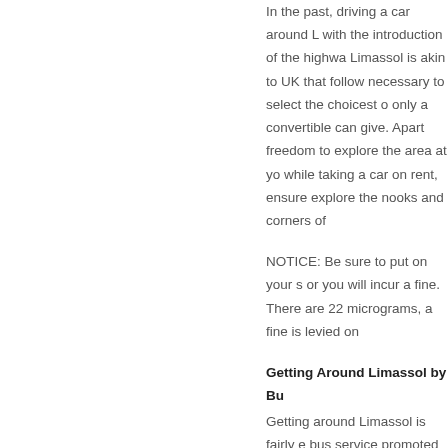In the past, driving a car around Limassol with the introduction of the highway, Limassol is akin to UK that follows, necessary to select the choicest only a convertible can give. Apart freedom to explore the area at yo while taking a car on rent, ensure explore the nooks and corners of
NOTICE: Be sure to put on your s or you will incur a fine. There are 22 micrograms, a fine is levied on
Getting Around Limassol by Bu
Getting around Limassol is fairly e bus service promoted by the EMBEe daily, whilst there is also the optio city as well as rural areas and the to get to and from the conference